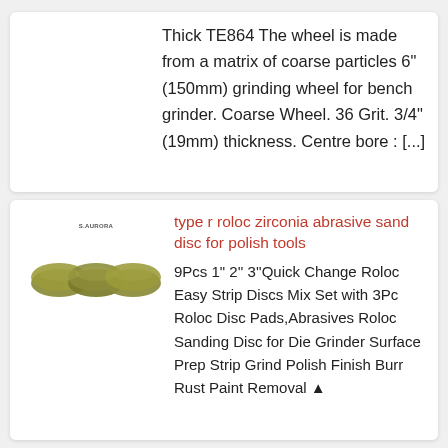Thick TE864 The wheel is made from a matrix of coarse particles 6" (150mm) grinding wheel for bench grinder. Coarse Wheel. 36 Grit. 3/4" (19mm) thickness. Centre bore : [...]
[Figure (photo): Product image showing abrasive sanding discs, olive/gold colored, with S.AURORA brand logo above]
type r roloc zirconia abrasive sand disc for polish tools
9Pcs 1" 2'' 3''Quick Change Roloc Easy Strip Discs Mix Set with 3Pc Roloc Disc Pads,Abrasives Roloc Sanding Disc for Die Grinder Surface Prep Strip Grind Polish Finish Burr Rust Paint Removal ▲